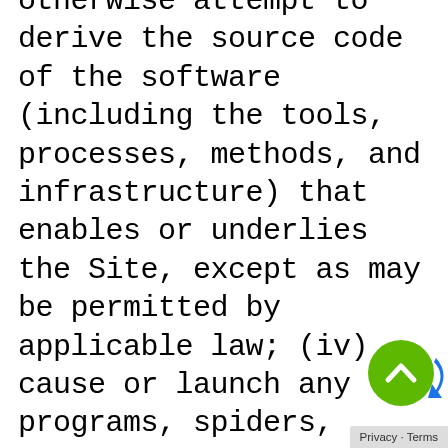otherwise attempt to derive the source code of the software (including the tools, processes, methods, and infrastructure) that enables or underlies the Site, except as may be permitted by applicable law; (iv) cause or launch any programs, spiders, robots, or scripts or other automatic or manual devices or processes for the purpose of extracting, scraping, indexing, surveying, or otherwise data mining any portion of the Site, or unduly burdensing or